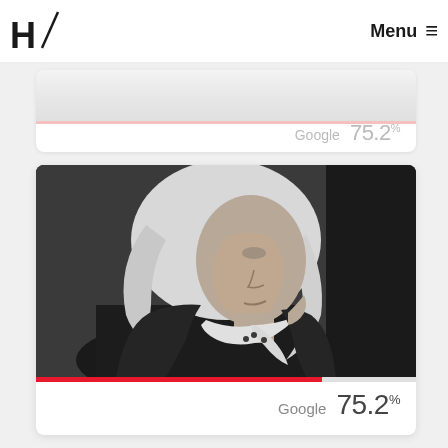H/ Menu ≡
[Figure (screenshot): Partially visible card with faded background image and Google 75.2% label]
[Figure (photo): Black and white portrait photograph of an elderly woman wearing a white headscarf, looking upward. Red progress bar at 75.2% below the image. Google 75.2% label.]